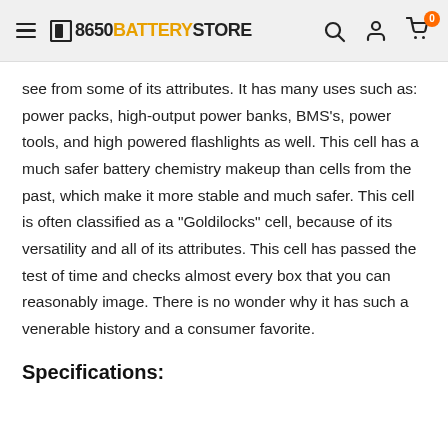18650 BATTERY STORE
see from some of its attributes. It has many uses such as: power packs, high-output power banks, BMS's, power tools, and high powered flashlights as well. This cell has a much safer battery chemistry makeup than cells from the past, which make it more stable and much safer. This cell is often classified as a "Goldilocks" cell, because of its versatility and all of its attributes. This cell has passed the test of time and checks almost every box that you can reasonably image. There is no wonder why it has such a venerable history and a consumer favorite.
Specifications: